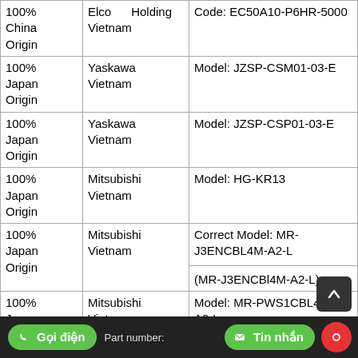| Origin | Supplier | Details |
| --- | --- | --- |
| 100%
China
Origin | Elco Holding
Vietnam | Code: EC50A10-P6HR-5000 |
| 100%
Japan
Origin | Yaskawa
Vietnam | Model: JZSP-CSM01-03-E |
| 100%
Japan
Origin | Yaskawa
Vietnam | Model: JZSP-CSP01-03-E |
| 100%
Japan
Origin | Mitsubishi
Vietnam | Model: HG-KR13 |
| 100%
Japan
Origin | Mitsubishi
Vietnam | Correct Model: MR-J3ENCBL4M-A2-L
(MR-J3ENCBl4M-A2-L) |
| 100%
Japan
Origin | Mitsubishi
Vietnam | Model: MR-PWS1CBL4M-A2-L |
| 100%
Japan
Origin | Mitsubishi
Vietnam | Model: MR-J4-10A |
| 100%
... | ... | Part number: ... |